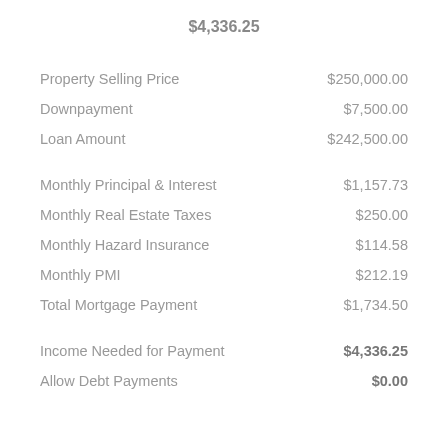$4,336.25
| Description | Amount |
| --- | --- |
| Property Selling Price | $250,000.00 |
| Downpayment | $7,500.00 |
| Loan Amount | $242,500.00 |
| Monthly Principal & Interest | $1,157.73 |
| Monthly Real Estate Taxes | $250.00 |
| Monthly Hazard Insurance | $114.58 |
| Monthly PMI | $212.19 |
| Total Mortgage Payment | $1,734.50 |
| Income Needed for Payment | $4,336.25 |
| Allow Debt Payments | $0.00 |